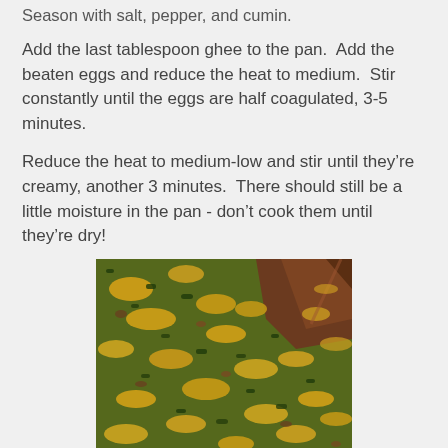Season with salt, pepper, and cumin.
Add the last tablespoon ghee to the pan.  Add the beaten eggs and reduce the heat to medium.  Stir constantly until the eggs are half coagulated, 3-5 minutes.
Reduce the heat to medium-low and stir until they’re creamy, another 3 minutes.  There should still be a little moisture in the pan - don’t cook them until they’re dry!
[Figure (photo): Close-up photo of scrambled eggs cooked with greens (spinach or similar) in a pan, showing yellow egg pieces mixed with dark green herbs/greens, with a wooden spatula visible at the top right corner.]